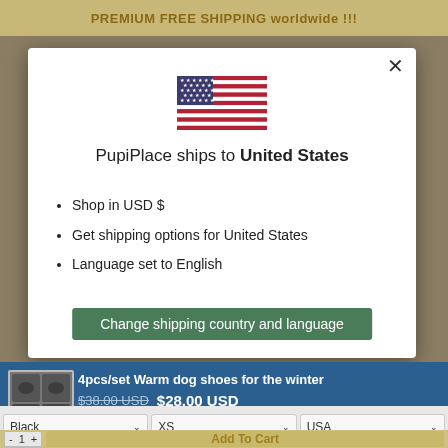PREMIUM FREE SHIPPING worldwide !!!
[Figure (illustration): US flag SVG illustration inside modal dialog]
PupiPlace ships to United States
Shop in USD $
Get shipping options for United States
Language set to English
Change shipping country and language
4pcs/set Warm dog shoes for the winter  $38.00 USD  $28.00 USD
Black  XS  USA
- 1 +  Add To Cart